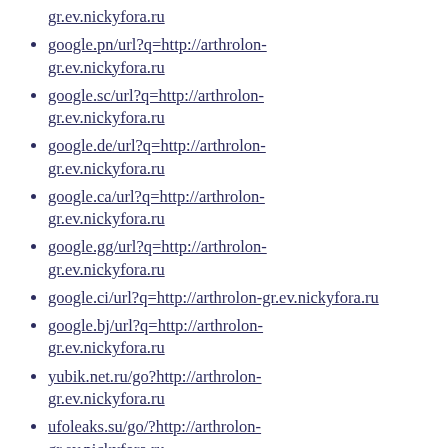gr.ev.nickyfora.ru
google.pn/url?q=http://arthrolon-gr.ev.nickyfora.ru
google.sc/url?q=http://arthrolon-gr.ev.nickyfora.ru
google.de/url?q=http://arthrolon-gr.ev.nickyfora.ru
google.ca/url?q=http://arthrolon-gr.ev.nickyfora.ru
google.gg/url?q=http://arthrolon-gr.ev.nickyfora.ru
google.ci/url?q=http://arthrolon-gr.ev.nickyfora.ru
google.bj/url?q=http://arthrolon-gr.ev.nickyfora.ru
yubik.net.ru/go?http://arthrolon-gr.ev.nickyfora.ru
ufoleaks.su/go/?http://arthrolon-gr.ev.nickyfora.ru
www.talkreviews.com/go/arthrolon-